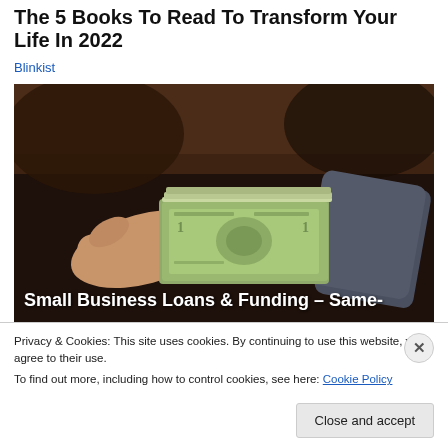The 5 Books To Read To Transform Your Life In 2022
Blinkist
[Figure (photo): Two hands exchanging a stack of US dollar bills, person on left in casual clothing, person on right in a business suit.]
Small Business Loans & Funding – Same-
Privacy & Cookies: This site uses cookies. By continuing to use this website, you agree to their use.
To find out more, including how to control cookies, see here: Cookie Policy